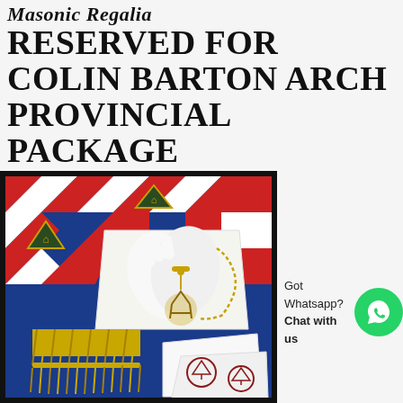Masonic Regalia RESERVED FOR COLIN BARTON ARCH PROVINCIAL PACKAGE
[Figure (photo): Masonic regalia package including white apron with gold fringe, white gloves, sash with blue and red pattern, gold jewel/pendant, and handkerchiefs with Royal Arch symbols]
Got Whatsapp? Chat with us